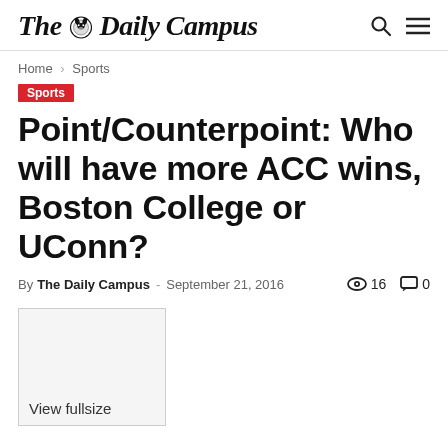The Daily Campus
Home › Sports
Sports
Point/Counterpoint: Who will have more ACC wins, Boston College or UConn?
By The Daily Campus - September 21, 2016  16  0
[Figure (photo): View fullsize image placeholder box]